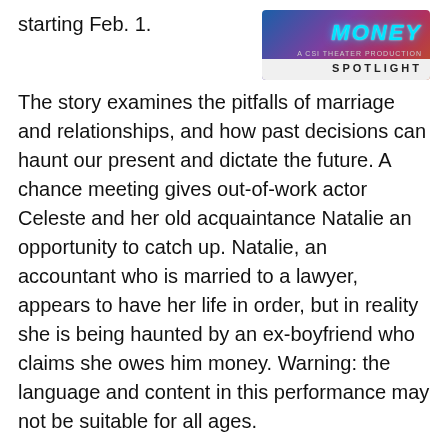starting Feb. 1.
[Figure (photo): Promotional image for a theater production showing stylized text 'MONEY' with colorful abstract background and 'SPOTLIGHT' branding at the bottom right, labeled 'A CSI THEATER PRODUCTION']
The story examines the pitfalls of marriage and relationships, and how past decisions can haunt our present and dictate the future. A chance meeting gives out-of-work actor Celeste and her old acquaintance Natalie an opportunity to catch up. Natalie, an accountant who is married to a lawyer, appears to have her life in order, but in reality she is being haunted by an ex-boyfriend who claims she owes him money. Warning: the language and content in this performance may not be suitable for all ages.
Evening performances will be at 7:30 p.m. on Feb. 1-2 and 7-9. Sunday matinees will be at 2 p.m. on Feb. 3 and 10.
The show is directed by Kelly Mullan, a lecturer in the Communication, Theater and Art Department. She said the play centers on creation and destruction in marital relationships, as inspired by the mythology of Kali, the Hindu goddess of creation and destruction. Kali Mull...